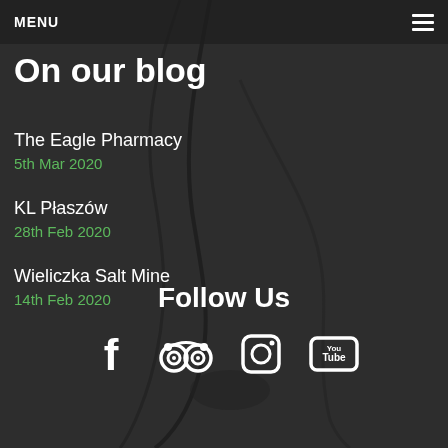MENU
On our blog
The Eagle Pharmacy
5th Mar 2020
KL Płaszów
28th Feb 2020
Wieliczka Salt Mine
14th Feb 2020
Follow Us
[Figure (infographic): Social media icons: Facebook, TripAdvisor, Instagram, YouTube]